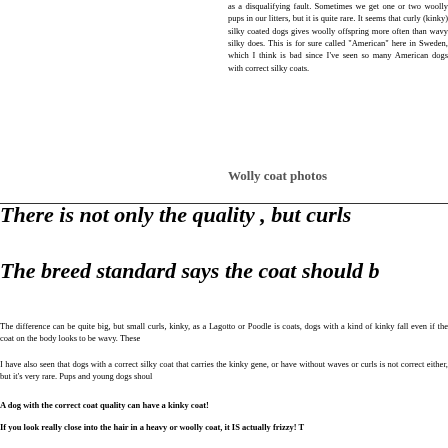as a disqualifying fault. Sometimes we get one or two woolly pups in our litters, but it is quite rare. It seems that curly (kinky) silky coated dogs gives woolly offspring more often than wavy silky does. This is for sure called "American" here in Sweden, which I think is bad since I've seen so many American dogs with correct silky coats.
Wolly coat photos
There is not only the quality , but curls
The breed standard says the coat should b
The difference can be quite big, but small curls, kinky, as a Lagotto or Poodle is coats, dogs with a kind of kinky fall even if the coat on the body looks to be wavy. These
I have also seen that dogs with a correct silky coat that carries the kinky gene, or have without waves or curls is not correct either, but it's very rare. Pups and young dogs shoul
A dog with the correct coat quality can have a kinky coat!
If you look really close into the hair in a heavy or woolly coat, it IS actually frizzy! T